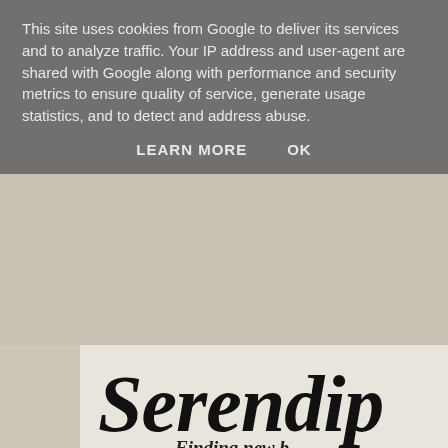This site uses cookies from Google to deliver its services and to analyze traffic. Your IP address and user-agent are shared with Google along with performance and security metrics to ensure quality of service, generate usage statistics, and to detect and address abuse.
LEARN MORE   OK
[Figure (screenshot): Serendip... blog header banner with italic serif title text and subtitle 'Finding new b...' on aged paper background]
Home   About me   2019 Book Reviews, Blog Tours & G...
Friday, 2 August 2013